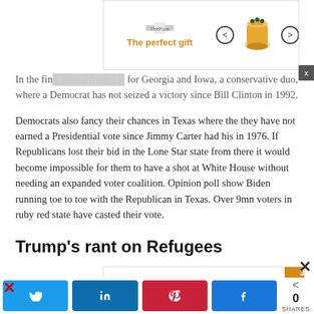[Figure (other): Advertisement banner at top: 'The perfect gift' with canister image, navigation arrows, and '35% OFF + FREE SHIPPING' offer in orange. Close button (x) visible.]
In the fin... for Georgia and Iowa, a conservative duo, where a Democrat has not seized a victory since Bill Clinton in 1992.
Democrats also fancy their chances in Texas where the they have not earned a Presidential vote since Jimmy Carter had his in 1976. If Republicans lost their bid in the Lone Star state from there it would become impossible for them to have a shot at White House without needing an expanded voter coalition. Opinion poll show Biden running toe to toe with the Republican in Texas. Over 9mn voters in ruby red state have casted their vote.
Trump's rant on Refugees
[Figure (other): Second advertisement banner: 'The perfect gift' with canister image, navigation arrows, and '35% OFF + FREE SHIPPING' offer in orange. Close button (X) and red X visible.]
[Figure (other): Social share bar with Twitter, LinkedIn, Pinterest, Facebook buttons and share count showing 0 SHARES.]